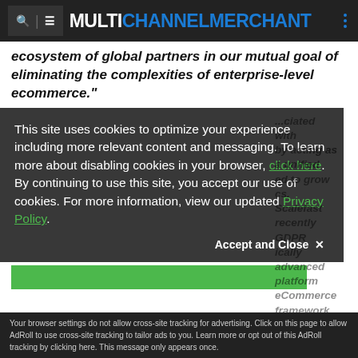MULTICHANNEL MERCHANT
ecosystem of global partners in our mutual goal of eliminating the complexities of enterprise-level ecommerce."
This site uses cookies to optimize your experience including more relevant content and messaging. To learn more about disabling cookies in your browser, click here. By continuing to use this site, you accept our use of cookies. For more information, view our updated Privacy Policy.
Scalefast ...associated with m... store by acting as th... a unified pl... ed to grow on... cs. Scalefast eff... recently GDPR co... ically advanced platform giv... eCommerce framework necessary to grow their businesses by providing the ability to handle in...
Accept and Close ✕
Your browser settings do not allow cross-site tracking for advertising. Click on this page to allow AdRoll to use cross-site tracking to tailor ads to you. Learn more or opt out of this AdRoll tracking by clicking here. This message only appears once.